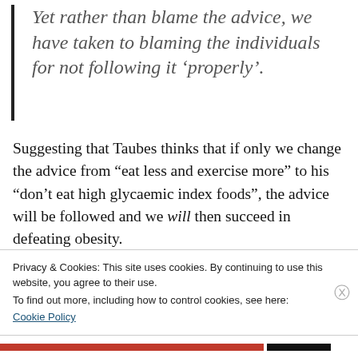Yet rather than blame the advice, we have taken to blaming the individuals for not following it ‘properly’.
Suggesting that Taubes thinks that if only we change the advice from “eat less and exercise more” to his “don’t eat high glycaemic index foods”, the advice will be followed and we will then succeed in defeating obesity.
I imagine any “advice” we give will be useless,
Privacy & Cookies: This site uses cookies. By continuing to use this website, you agree to their use.
To find out more, including how to control cookies, see here:
Cookie Policy
Close and accept